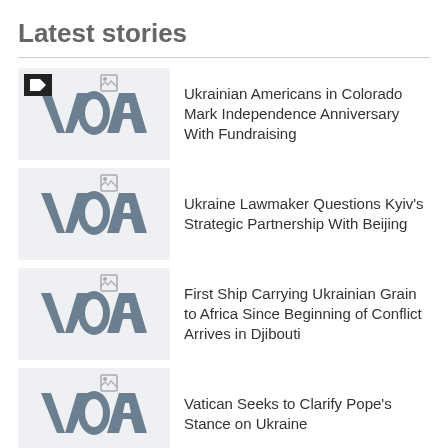Latest stories
[Figure (logo): VOA logo thumbnail with video badge - Ukrainian Americans in Colorado story]
Ukrainian Americans in Colorado Mark Independence Anniversary With Fundraising
[Figure (logo): VOA logo thumbnail - Ukraine Lawmaker Questions Kyiv's Strategic Partnership With Beijing]
Ukraine Lawmaker Questions Kyiv's Strategic Partnership With Beijing
[Figure (logo): VOA logo thumbnail - First Ship Carrying Ukrainian Grain to Africa Since Beginning of Conflict Arrives in Djibouti]
First Ship Carrying Ukrainian Grain to Africa Since Beginning of Conflict Arrives in Djibouti
[Figure (logo): VOA logo thumbnail - Vatican Seeks to Clarify Pope's Stance on Ukraine]
Vatican Seeks to Clarify Pope's Stance on Ukraine